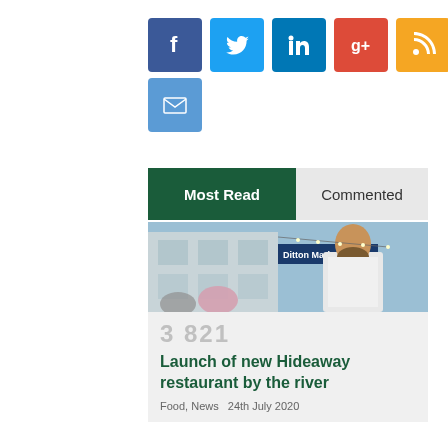[Figure (infographic): Social media share buttons: Facebook (blue), Twitter (light blue), LinkedIn (dark blue), Google+ (red), RSS (orange), Pinterest (red), Email (blue)]
[Figure (infographic): Tab bar with two tabs: 'Most Read' (active, dark green background) and 'Commented' (inactive, light grey)]
[Figure (photo): Photo of a man in a white short-sleeve shirt standing outside Ditton Marina restaurant]
3 821
Launch of new Hideaway restaurant by the river
Food, News   24th July 2020